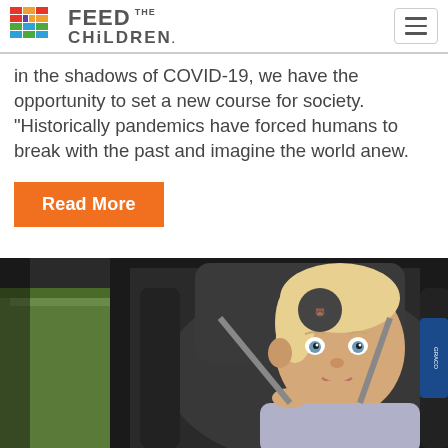Feed The Children
in the shadows of COVID-19, we have the opportunity to set a new course for society. “Historically pandemics have forced humans to break with the past and imagine the world anew.
Read More
[Figure (photo): Baby/toddler sitting in a car seat, looking at camera, with a cardboard box visible to the left]